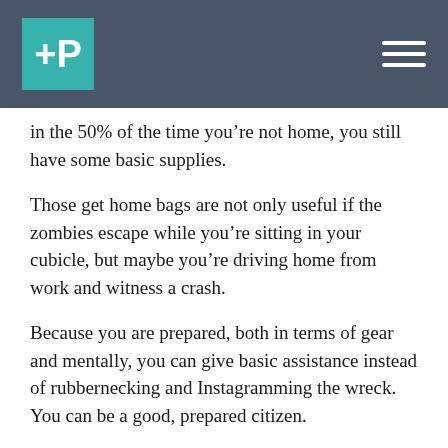+P [logo] [hamburger menu]
in the 50% of the time you’re not home, you still have some basic supplies.
Those get home bags are not only useful if the zombies escape while you’re sitting in your cubicle, but maybe you’re driving home from work and witness a crash.
Because you are prepared, both in terms of gear and mentally, you can give basic assistance instead of rubbernecking and Instagramming the wreck. You can be a good, prepared citizen.
Being prepared can even help with criminal and civil legal proceedings — if you are mentally clear and know what to look for instead of being a normal person freaking out, your credibility goes way up.